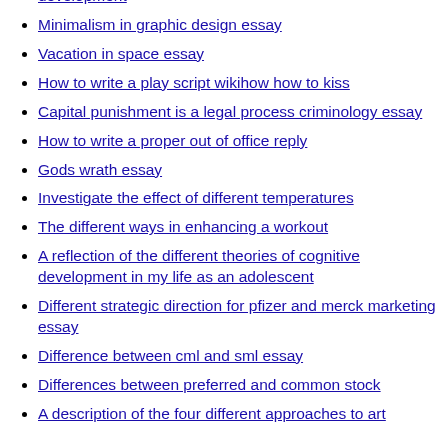development
Minimalism in graphic design essay
Vacation in space essay
How to write a play script wikihow how to kiss
Capital punishment is a legal process criminology essay
How to write a proper out of office reply
Gods wrath essay
Investigate the effect of different temperatures
The different ways in enhancing a workout
A reflection of the different theories of cognitive development in my life as an adolescent
Different strategic direction for pfizer and merck marketing essay
Difference between cml and sml essay
Differences between preferred and common stock
A description of the four different approaches to art